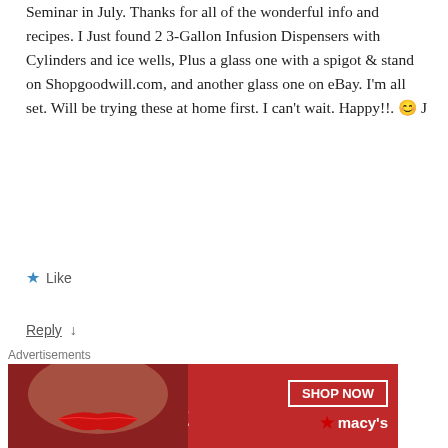Seminar in July. Thanks for all of the wonderful info and recipes. I Just found 2 3-Gallon Infusion Dispensers with Cylinders and ice wells, Plus a glass one with a spigot & stand on Shopgoodwill.com, and another glass one on eBay. I'm all set. Will be trying these at home first. I can't wait. Happy!!. 🙂 J
★ Like
Reply ↓
nancyc POST AUTHOR
June 20, 2012 at 3:10
That's great, Jacqui! Let me know how your presentation
[Figure (photo): Avatar image of nancyc showing a cupcake with strawberry]
[Figure (photo): Macy's advertisement banner: KISS BORING LIPS GOODBYE with SHOP NOW button and Macy's star logo]